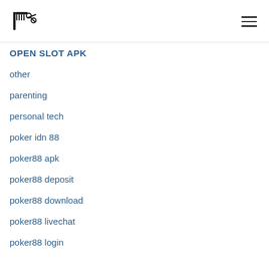Logo and navigation menu
OPEN SLOT APK
other
parenting
personal tech
poker idn 88
poker88 apk
poker88 deposit
poker88 download
poker88 livechat
poker88 login